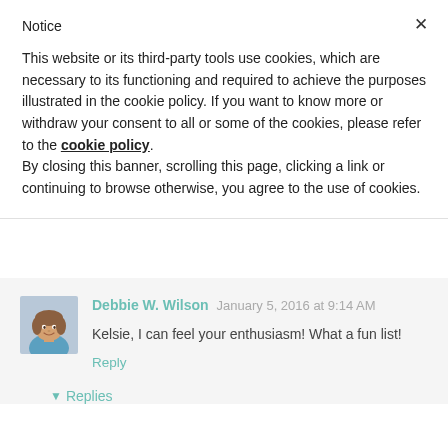Notice
This website or its third-party tools use cookies, which are necessary to its functioning and required to achieve the purposes illustrated in the cookie policy. If you want to know more or withdraw your consent to all or some of the cookies, please refer to the cookie policy.
By closing this banner, scrolling this page, clicking a link or continuing to browse otherwise, you agree to the use of cookies.
Debbie W. Wilson January 5, 2016 at 9:14 AM
Kelsie, I can feel your enthusiasm! What a fun list!
Reply
▾ Replies